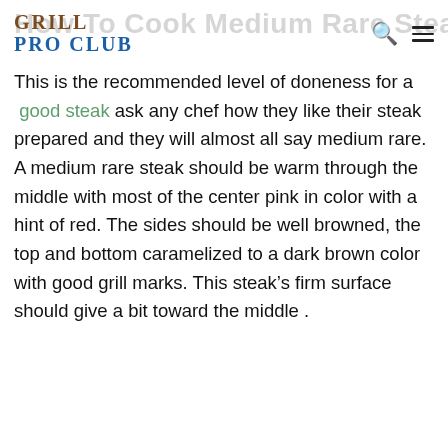GRILL PRO CLUB
How To Cook Medium Rare Steak
This is the recommended level of doneness for a good steak ask any chef how they like their steak prepared and they will almost all say medium rare. A medium rare steak should be warm through the middle with most of the center pink in color with a hint of red. The sides should be well browned, the top and bottom caramelized to a dark brown color with good grill marks. This steak’s firm surface should give a bit toward the middle .